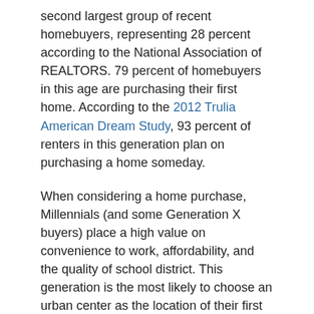second largest group of recent homebuyers, representing 28 percent according to the National Association of REALTORS. 79 percent of homebuyers in this age are purchasing their first home. According to the 2012 Trulia American Dream Study, 93 percent of renters in this generation plan on purchasing a home someday.
When considering a home purchase, Millennials (and some Generation X buyers) place a high value on convenience to work, affordability, and the quality of school district. This generation is the most likely to choose an urban center as the location of their first home. According to market research by Gfk Roper, this group is most interested in their home as a social hub, with a focus on entertainment and amenities.